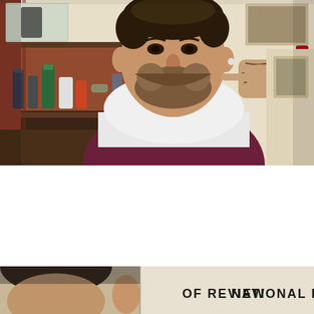[Figure (photo): A man with a beard and curly dark hair sitting in a barber chair wearing a maroon and white striped shirt with a white towel over his shoulders. A tattooed barber's hand is seen touching the man's cheek, holding a spray bottle. The barbershop background shows shelves with grooming products, a mirror, framed photos, and brick walls.]
[Figure (photo): Bottom strip showing partial view of what appears to be a man's head/hair on the left, and text reading 'OF REVIEW' and 'NATIONAL BOA' on the right side, suggesting a cropped image from a magazine or publication page.]